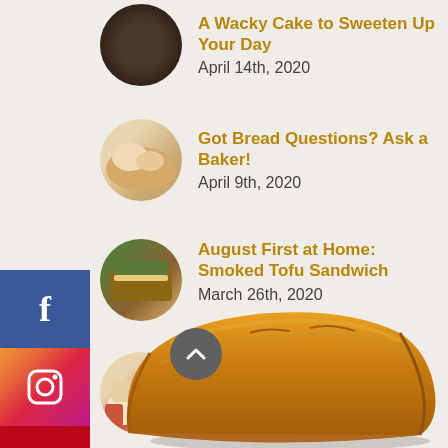A Wacky Cake to Sweeten Up Your Day
April 14th, 2020
Got Bread Questions? Ask a Baker!
April 9th, 2020
August First at Home: Smoked Tofu Sandwich
March 26th, 2020
Breaducation: Milk Bread
March 9th, 2020
[Figure (photo): Loaf of crusty golden bread at the bottom of page]
[Figure (infographic): Social media sidebar with Facebook, Instagram, Pinterest, Reddit, LinkedIn, Twitter buttons]